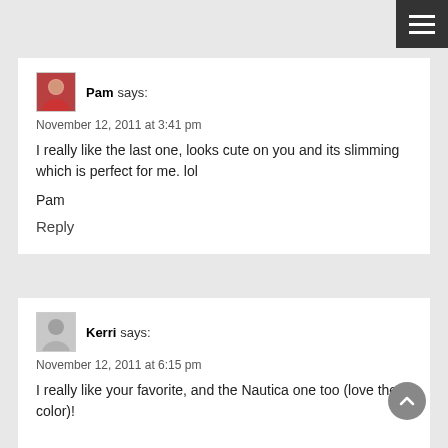[Figure (other): Hamburger menu button, dark background with three white lines]
Pam says:
November 12, 2011 at 3:41 pm
I really like the last one, looks cute on you and its slimming which is perfect for me. lol

Pam

Reply
Kerri says:
November 12, 2011 at 6:15 pm
I really like your favorite, and the Nautica one too (love the color)!